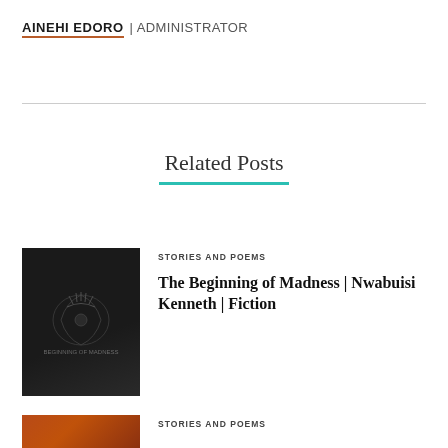AINEHI EDORO | ADMINISTRATOR
Related Posts
STORIES AND POEMS
The Beginning of Madness | Nwabuisi Kenneth | Fiction
STORIES AND POEMS